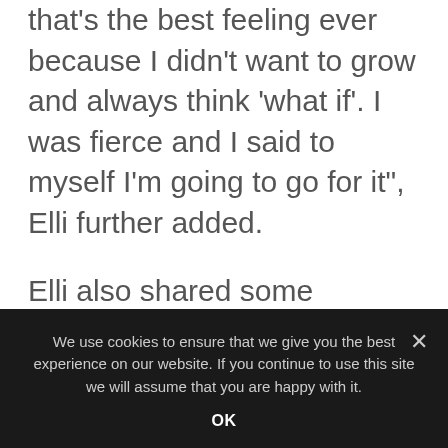that's the best feeling ever because I didn't want to grow and always think 'what if'. I was fierce and I said to myself I'm going to go for it", Elli further added.
Elli also shared some intriguing details from her personal life and her upbringing by saying, "I grew up in a Greek Orthodox home, which meant even if I stepped out clubbing and my mother would accompany me or else I wasn't allowed to go out. So when I approached my father
We use cookies to ensure that we give you the best experience on our website. If you continue to use this site we will assume that you are happy with it.
OK